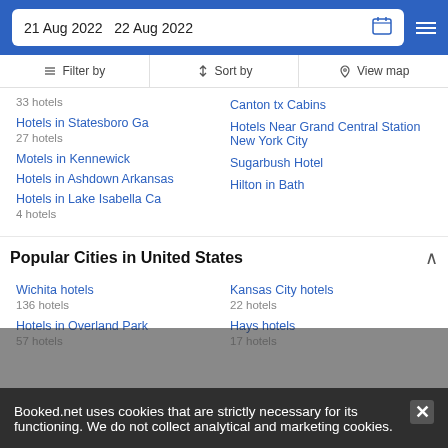21 Aug 2022  22 Aug 2022
Filter by
Sort by
View map
33 hotels
Canton tx Cabins
Hotels in Statesboro Ga
27 hotels
Hotels Near Grand Central Station New York City
Motels in Kennewick
Sugarbush Hotel
Hotels in Ashdown Arkansas
Hilton in Bath
Hotels in Lake Isabella Ca
4 hotels
Popular Cities in United States
Wichita hotels
136 hotels
Kansas City hotels
22 hotels
Hotels in Overland Park
57 hotels
Hays hotels
17 hotels
Booked.net uses cookies that are strictly necessary for its functioning. We do not collect analytical and marketing cookies.